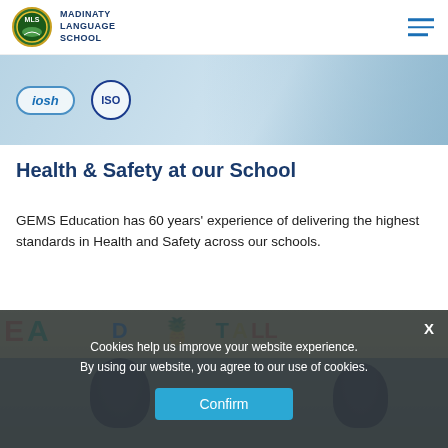MADINATY LANGUAGE SCHOOL
[Figure (photo): Header image showing iosh and ISO certification logos over a blue/medical background]
Health & Safety at our School
GEMS Education has 60 years' experience of delivering the highest standards in Health and Safety across our schools.
[Figure (photo): Children sitting in front of colorful alphabet/letters wall display with pineapple illustration]
Cookies help us improve your website experience. By using our website, you agree to our use of cookies.